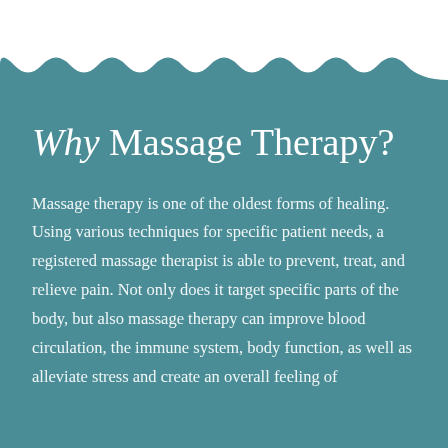Why Massage Therapy?
Massage therapy is one of the oldest forms of healing. Using various techniques for specific patient needs, a registered massage therapist is able to prevent, treat, and relieve pain. Not only does it target specific parts of the body, but also massage therapy can improve blood circulation, the immune system, body function, as well as alleviate stress and create an overall feeling of